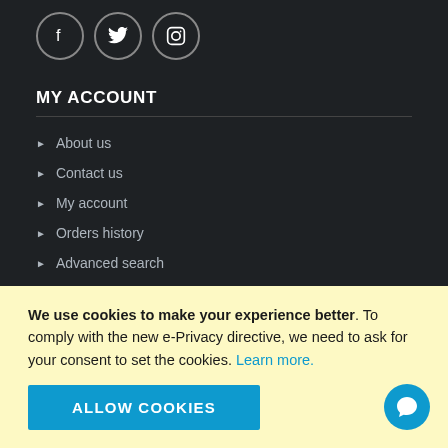[Figure (illustration): Social media icons for Facebook, Twitter, and Instagram displayed as circular outlined buttons]
MY ACCOUNT
About us
Contact us
My account
Orders history
Advanced search
INFORMATION
Blog
We use cookies to make your experience better. To comply with the new e-Privacy directive, we need to ask for your consent to set the cookies. Learn more.
ALLOW COOKIES